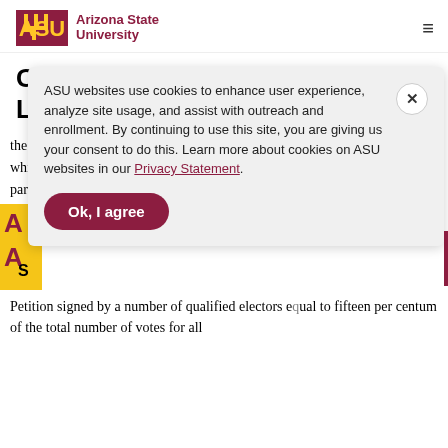ASU Arizona State University
Center for Political Thought and Leadership
the State of Arizona, and no future Constitutional amendment shall be made which in any manner changes or abrogates this ordinance in whole or in part without the consent of Congress.
ASU websites use cookies to enhance user experience, analyze site usage, and assist with outreach and enrollment. By continuing to use this site, you are giving us your consent to do this. Learn more about cookies on ASU websites in our Privacy Statement.
S
Petition signed by a number of qualified electors equal to fifteen per centum of the total number of votes for all